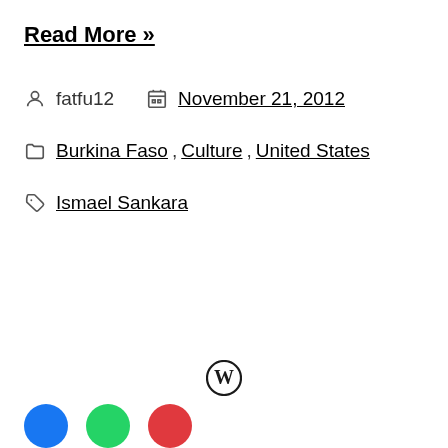Read More »
fatfu12    November 21, 2012
Burkina Faso, Culture, United States
Ismael Sankara
[Figure (logo): WordPress logo (W in circle)]
[Figure (illustration): Social media icons: blue (Facebook), green (WhatsApp), red (Pinterest/other)]